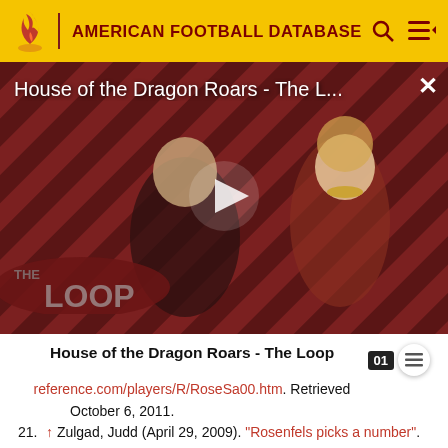AMERICAN FOOTBALL DATABASE
[Figure (screenshot): Video thumbnail for 'House of the Dragon Roars - The L...' with play button overlay, diagonal striped red/dark background, two characters visible, 'THE LOOP' text badge at bottom left, close X button top right]
House of the Dragon Roars - The Loop
reference.com/players/R/RoseSa00.htm. Retrieved October 6, 2011.
21. ↑ Zulgad, Judd (April 29, 2009). "Rosenfels picks a number". startribune.com. Archived from the original